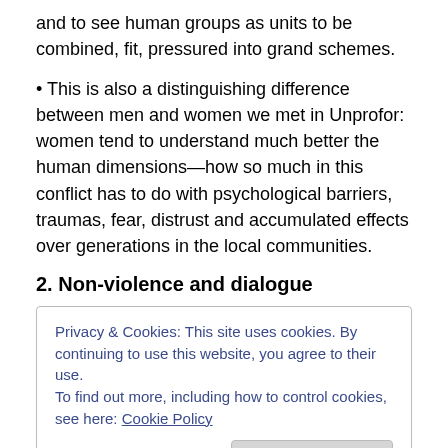and to see human groups as units to be combined, fit, pressured into grand schemes.
• This is also a distinguishing difference between men and women we met in Unprofor: women tend to understand much better the human dimensions—how so much in this conflict has to do with psychological barriers, traumas, fear, distrust and accumulated effects over generations in the local communities.
2. Non-violence and dialogue
Privacy & Cookies: This site uses cookies. By continuing to use this website, you agree to their use.
To find out more, including how to control cookies, see here: Cookie Policy
Close and accept
and potentially avoided for the problem organizations